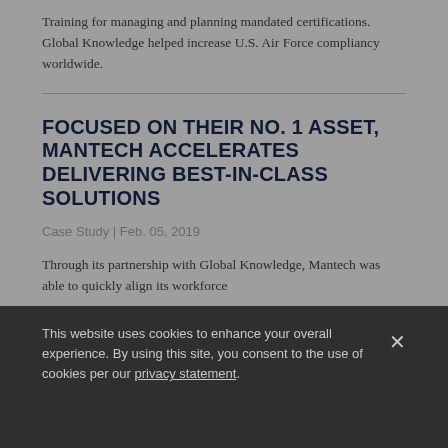Training for managing and planning mandated certifications. Global Knowledge helped increase U.S. Air Force compliancy worldwide.
FOCUSED ON THEIR NO. 1 ASSET, MANTECH ACCELERATES DELIVERING BEST-IN-CLASS SOLUTIONS
Case Study | Feb. 05, 2019
Through its partnership with Global Knowledge, Mantech was able to quickly align its workforce
This website uses cookies to enhance your overall experience. By using this site, you consent to the use of cookies per our privacy statement.